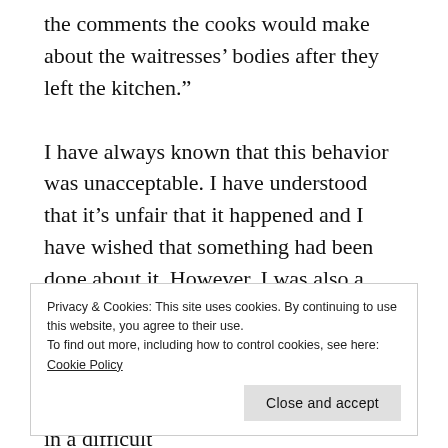the comments the cooks would make about the waitresses’ bodies after they left the kitchen.”
I have always known that this behavior was unacceptable. I have understood that it’s unfair that it happened and I have wished that something had been done about it. However, I was also a young adult with no support from my family, and I prided myself on my grit. I was grateful for my reasonably-lucrative job, where I had become a shift staple, in a difficult
Privacy & Cookies: This site uses cookies. By continuing to use this website, you agree to their use.
To find out more, including how to control cookies, see here: Cookie Policy